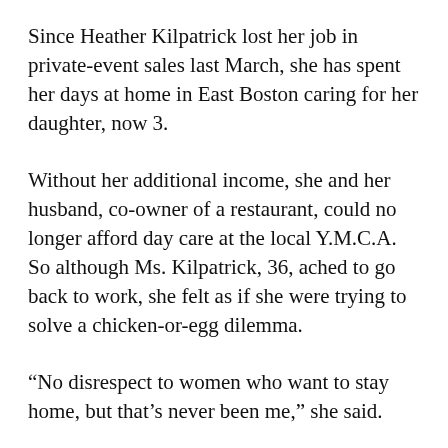Since Heather Kilpatrick lost her job in private-event sales last March, she has spent her days at home in East Boston caring for her daughter, now 3.
Without her additional income, she and her husband, co-owner of a restaurant, could no longer afford day care at the local Y.M.C.A. So although Ms. Kilpatrick, 36, ached to go back to work, she felt as if she were trying to solve a chicken-or-egg dilemma.
“No disrespect to women who want to stay home, but that’s never been me,” she said.
Recently, she finally accepted a part-time job working from home for a restaurant group…